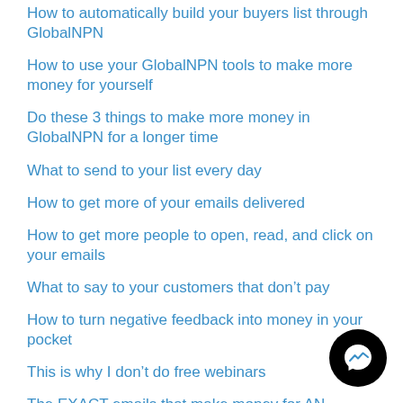How to automatically build your buyers list through GlobalNPN
How to use your GlobalNPN tools to make more money for yourself
Do these 3 things to make more money in GlobalNPN for a longer time
What to send to your list every day
How to get more of your emails delivered
How to get more people to open, read, and click on your emails
What to say to your customers that don’t pay
How to turn negative feedback into money in your pocket
This is why I don’t do free webinars
The EXACT emails that make money for ANY business